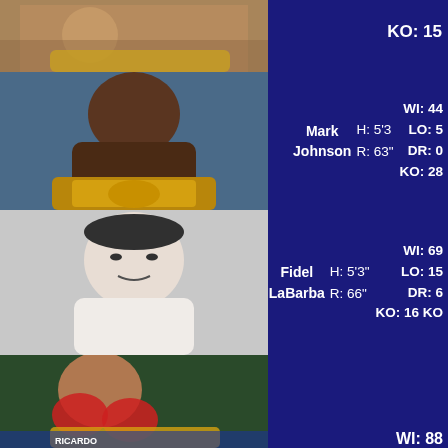[Figure (photo): Partial photo at top of page, cropped fighter with championship belt]
KO: 15
[Figure (photo): Mark Johnson, shirtless boxer posing with IBF championship belt]
Mark Johnson
H: 5'3
R: 63"
WI: 44
LO: 5
DR: 0
KO: 28
[Figure (photo): Fidel LaBarba, black and white photo of shirtless boxer]
Fidel LaBarba
H: 5'3"
R: 66"
WI: 69
LO: 15
DR: 6
KO: 16 KO
[Figure (photo): Ricardo Lopez, boxer with red gloves and championship belt, wearing Ricardo logo shirt]
Ricardo Lopez
H: 5'5"
R: 65"
WI: 51
LO: 0
DR: 1
KO: 38
[Figure (photo): Partial photo at bottom of page, black and white boxer]
WI: 88